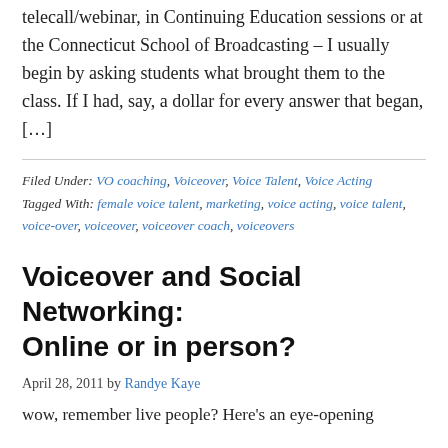telecall/webinar, in Continuing Education sessions or at the Connecticut School of Broadcasting – I usually begin by asking students what brought them to the class. If I had, say, a dollar for every answer that began, […]
Filed Under: VO coaching, Voiceover, Voice Talent, Voice Acting Tagged With: female voice talent, marketing, voice acting, voice talent, voice-over, voiceover, voiceover coach, voiceovers
Voiceover and Social Networking: Online or in person?
April 28, 2011 by Randye Kaye
wow, remember live people? Here's an eye-opening